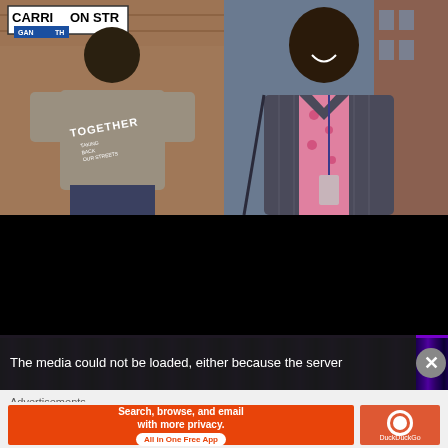[Figure (photo): Two side-by-side photographs: left shows a Black man in a grey 'TOGETHER' t-shirt standing in front of 'Carrington Street' sign; right shows a Black man wearing a pink floral shirt and grey pinstripe suit jacket, smiling]
Videos: Click & watch
The media could not be loaded, either because the server
Advertisements
[Figure (screenshot): DuckDuckGo advertisement banner: 'Search, browse, and email with more privacy. All in One Free App' with DuckDuckGo logo]